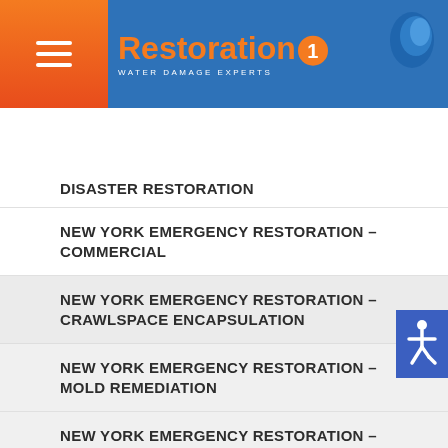Restoration 1 Water Damage Experts
855.496.0277
DISASTER RESTORATION
NEW YORK EMERGENCY RESTORATION – COMMERCIAL
NEW YORK EMERGENCY RESTORATION – CRAWLSPACE ENCAPSULATION
NEW YORK EMERGENCY RESTORATION – MOLD REMEDIATION
NEW YORK EMERGENCY RESTORATION – ODOR REMOVAL
NEW YORK INDUSTRIAL RESTORATION